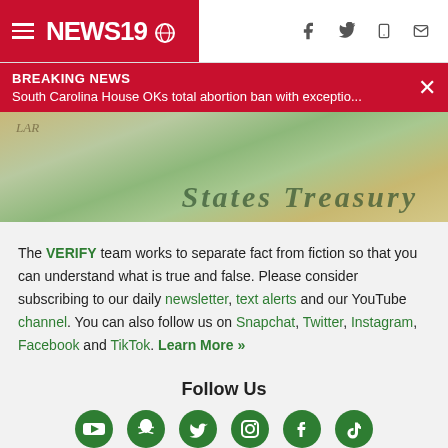NEWS19 - Breaking News: South Carolina House OKs total abortion ban with exceptio...
[Figure (photo): Close-up photo of United States Treasury check/document with cursive text visible]
The VERIFY team works to separate fact from fiction so that you can understand what is true and false. Please consider subscribing to our daily newsletter, text alerts and our YouTube channel. You can also follow us on Snapchat, Twitter, Instagram, Facebook and TikTok. Learn More »
Follow Us
[Figure (infographic): Social media icons: YouTube, Snapchat, Twitter, Instagram, Facebook, TikTok - all in green]
Want something VERIFIED?